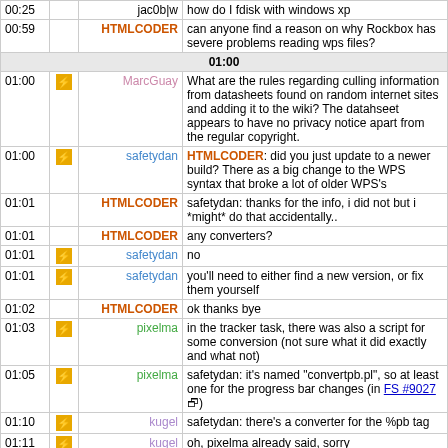| Time | Icon | User | Message |
| --- | --- | --- | --- |
| 00:25 |  | jac0b|w | how do I fdisk with windows xp |
| 00:59 |  | HTMLCODER | can anyone find a reason on why Rockbox has severe problems reading wps files? |
|  |  | 01:00 |  |
| 01:00 | [icon] | MarcGuay | What are the rules regarding culling information from datasheets found on random internet sites and adding it to the wiki? The datahseet appears to have no privacy notice apart from the regular copyright. |
| 01:00 | [icon] | safetydan | HTMLCODER: did you just update to a newer build? There as a big change to the WPS syntax that broke a lot of older WPS's |
| 01:01 |  | HTMLCODER | safetydan: thanks for the info, i did not but i *might* do that accidentally.. |
| 01:01 |  | HTMLCODER | any converters? |
| 01:01 | [icon] | safetydan | no |
| 01:01 | [icon] | safetydan | you'll need to either find a new version, or fix them yourself |
| 01:02 |  | HTMLCODER | ok thanks bye |
| 01:03 | [icon] | pixelma | in the tracker task, there was also a script for some conversion (not sure what it did exactly and what not) |
| 01:05 | [icon] | pixelma | safetydan: it's named "convertpb.pl", so at least one for the progress bar changes (in FS #9027) |
| 01:10 | [icon] | kugel | safetydan: there's a converter for the %pb tag |
| 01:11 | [icon] | kugel | oh, pixelma already said, sorry |
| 01:11 | [icon] | safetydan | I was not aware of that. |